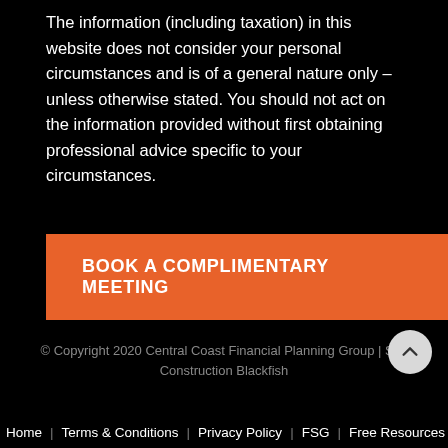The information (including taxation) in this website does not consider your personal circumstances and is of a general nature only – unless otherwise stated. You should not act on the information provided without first obtaining professional advice specific to your circumstances.
BOOK A COMPLIMENTARY MEETING
© Copyright 2020 Central Coast Financial Planning Group | Site Construction Blackfish
Home   Terms & Conditions   Privacy Policy   FSG   Free Resources